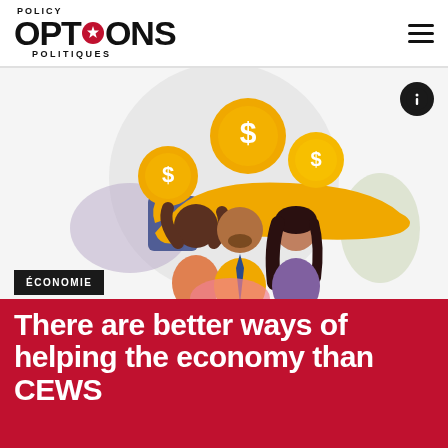POLICY OPTIONS POLITIQUES
[Figure (illustration): Illustration of three people (diverse group) with a large hand holding three gold dollar-sign coins floating above them, on a light grey circular background with colourful abstract shapes.]
ÉCONOMIE
There are better ways of helping the economy than CEWS